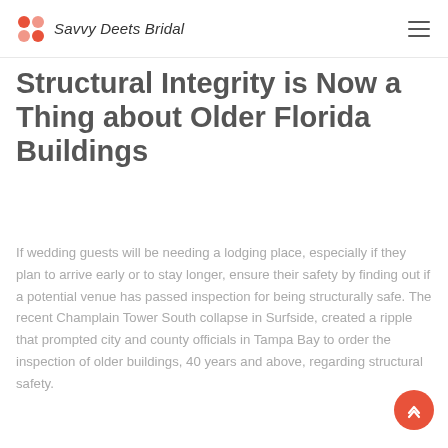Savvy Deets Bridal
Structural Integrity is Now a Thing about Older Florida Buildings
If wedding guests will be needing a lodging place, especially if they plan to arrive early or to stay longer, ensure their safety by finding out if a potential venue has passed inspection for being structurally safe. The recent Champlain Tower South collapse in Surfside, created a ripple that prompted city and county officials in Tampa Bay to order the inspection of older buildings, 40 years and above, regarding structural safety.